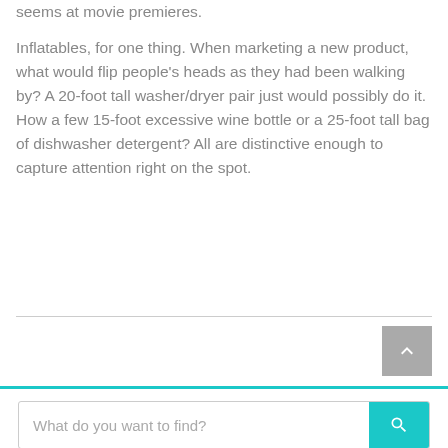seems at movie premieres.
Inflatables, for one thing. When marketing a new product, what would flip people's heads as they had been walking by? A 20-foot tall washer/dryer pair just would possibly do it. How a few 15-foot excessive wine bottle or a 25-foot tall bag of dishwasher detergent? All are distinctive enough to capture attention right on the spot.
[Figure (other): Scroll-to-top button (grey square with white upward chevron arrow)]
[Figure (screenshot): Search bar with placeholder text 'What do you want to find?' and a teal search button with magnifying glass icon]